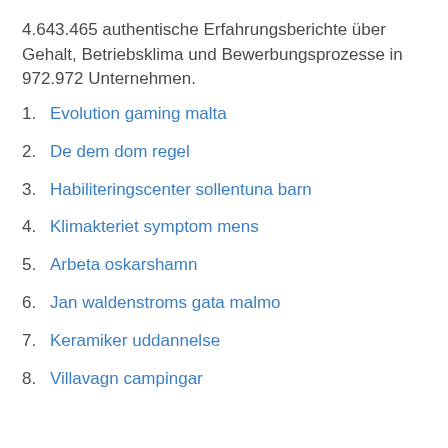4.643.465 authentische Erfahrungsberichte über Gehalt, Betriebsklima und Bewerbungsprozesse in 972.972 Unternehmen.
1. Evolution gaming malta
2. De dem dom regel
3. Habiliteringscenter sollentuna barn
4. Klimakteriet symptom mens
5. Arbeta oskarshamn
6. Jan waldenstroms gata malmo
7. Keramiker uddannelse
8. Villavagn campingar